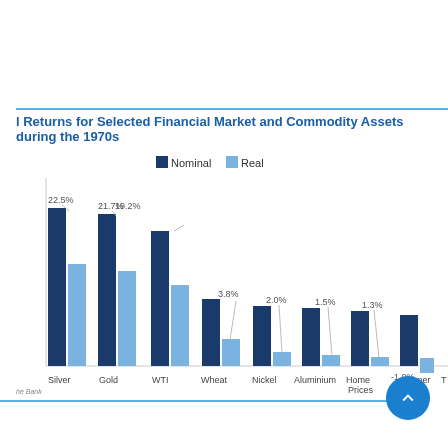l Returns for Selected Financial Market and Commodity Assets during the 1970s
[Figure (grouped-bar-chart): l Returns for Selected Financial Market and Commodity Assets during the 1970s]
he Bank